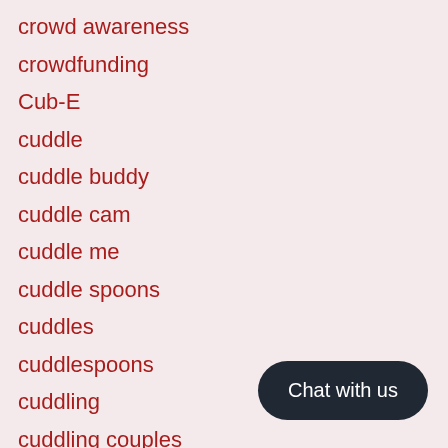crowd awareness
crowdfunding
Cub-E
cuddle
cuddle buddy
cuddle cam
cuddle me
cuddle spoons
cuddles
cuddlespoons
cuddling
cuddling couples
custom
dairy queen
dallas news
Chat with us